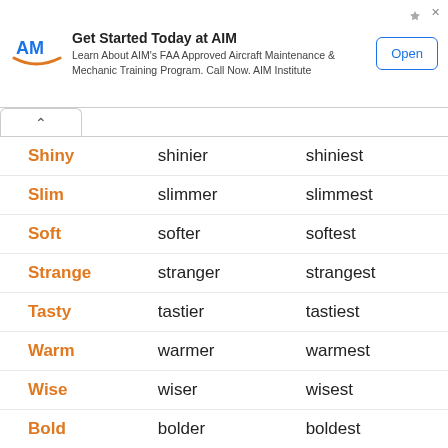[Figure (other): Advertisement banner for AIM Institute aircraft maintenance training. Logo with 'AM' text and orange swoosh, headline 'Get Started Today at AIM', body text 'Learn About AIM's FAA Approved Aircraft Maintenance & Mechanic Training Program. Call Now. AIM Institute', and an 'Open' button.]
| Base | Comparative | Superlative |
| --- | --- | --- |
| Shiny | shinier | shiniest |
| Slim | slimmer | slimmest |
| Soft | softer | softest |
| Strange | stranger | strangest |
| Tasty | tastier | tastiest |
| Warm | warmer | warmest |
| Wise | wiser | wisest |
| Bold | bolder | boldest |